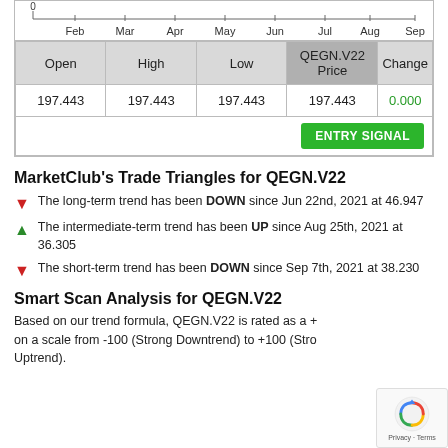[Figure (continuous-plot): Partial price chart showing x-axis with months: 0, Feb, Mar, Apr, May, Jun, Jul, Aug, Sep]
| Open | High | Low | QEGN.V22 Price | Change |
| --- | --- | --- | --- | --- |
| 197.443 | 197.443 | 197.443 | 197.443 | 0.000 |
MarketClub's Trade Triangles for QEGN.V22
The long-term trend has been DOWN since Jun 22nd, 2021 at 46.947
The intermediate-term trend has been UP since Aug 25th, 2021 at 36.305
The short-term trend has been DOWN since Sep 7th, 2021 at 38.230
Smart Scan Analysis for QEGN.V22
Based on our trend formula, QEGN.V22 is rated as a + on a scale from -100 (Strong Downtrend) to +100 (Strong Uptrend).